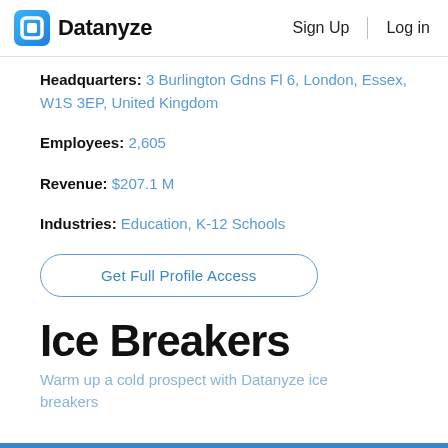Datanyze  Sign Up  Log in
Headquarters: 3 Burlington Gdns Fl 6, London, Essex, W1S 3EP, United Kingdom
Employees: 2,605
Revenue: $207.1 M
Industries: Education, K-12 Schools
Get Full Profile Access
Ice Breakers
Warm up a cold prospect with Datanyze ice breakers